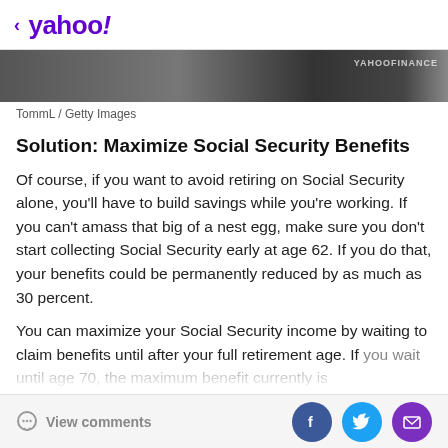< yahoo!
[Figure (photo): Partial image strip showing a blurred scene, with YAHOOFINANCE watermark at top right]
TommL / Getty Images
Solution: Maximize Social Security Benefits
Of course, if you want to avoid retiring on Social Security alone, you'll have to build savings while you're working. If you can't amass that big of a nest egg, make sure you don't start collecting Social Security early at age 62. If you do that, your benefits could be permanently reduced by as much as 30 percent.
You can maximize your Social Security income by waiting to claim benefits until after your full retirement age. If you wait until age 70, the maximum benefit currently is
View comments